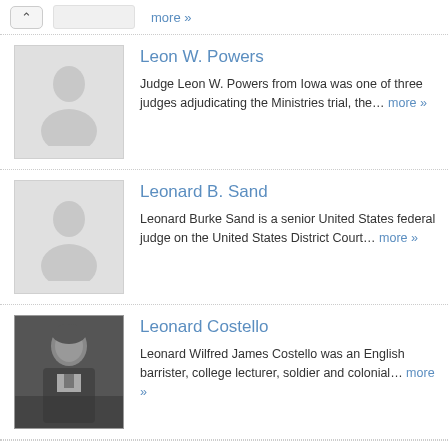more »
[Figure (illustration): Placeholder silhouette image for Leon W. Powers]
Leon W. Powers
Judge Leon W. Powers from Iowa was one of three judges adjudicating the Ministries trial, the... more »
[Figure (illustration): Placeholder silhouette image for Leonard B. Sand]
Leonard B. Sand
Leonard Burke Sand is a senior United States federal judge on the United States District Court... more »
[Figure (photo): Black and white photograph of Leonard Costello, a man in formal dress]
Leonard Costello
Leonard Wilfred James Costello was an English barrister, college lecturer, soldier and colonial... more »